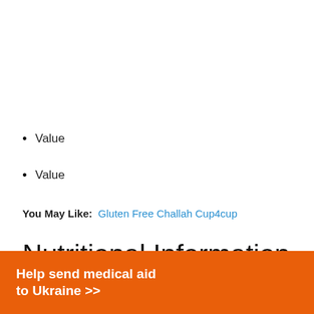Value
Value
You May Like:  Gluten Free Challah Cup4cup
Nutritional Information For Olive Garden Dressings
[Figure (other): Orange advertisement banner: 'Help send medical aid to Ukraine >>' with Direct Relief logo]